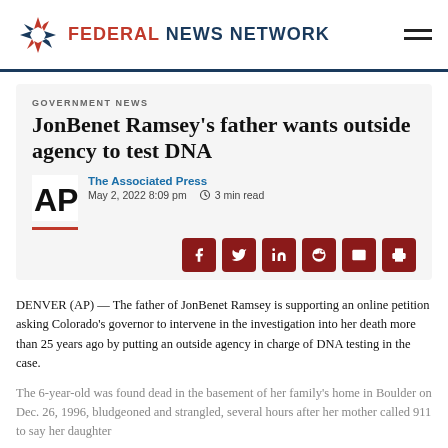FEDERAL NEWS NETWORK
GOVERNMENT NEWS
JonBenet Ramsey's father wants outside agency to test DNA
The Associated Press
May 2, 2022 8:09 pm
3 min read
DENVER (AP) — The father of JonBenet Ramsey is supporting an online petition asking Colorado's governor to intervene in the investigation into her death more than 25 years ago by putting an outside agency in charge of DNA testing in the case.
The 6-year-old was found dead in the basement of her family's home in Boulder on Dec. 26, 1996, bludgeoned and strangled, several hours after her mother called 911 to say her daughter